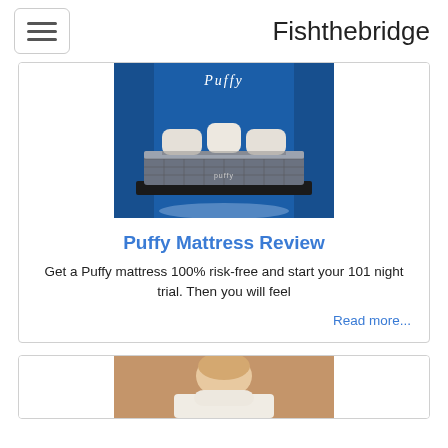Fishthebridge
[Figure (photo): Puffy mattress product photo on a dark platform bed frame against a blue background with the Puffy logo at the top]
Puffy Mattress Review
Get a Puffy mattress 100% risk-free and start your 101 night trial. Then you will feel
Read more...
[Figure (photo): Partial view of a second card with a person and pillow photo, cut off at bottom of page]